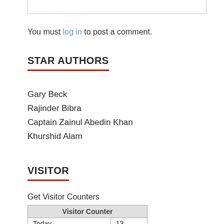You must log in to post a comment.
STAR AUTHORS
Gary Beck
Rajinder Bibra
Captain Zainul Abedin Khan
Khurshid Alam
VISITOR
Get Visitor Counters
| Visitor Counter |
| --- |
| Today | 13 |
| Yesterday | 29 |